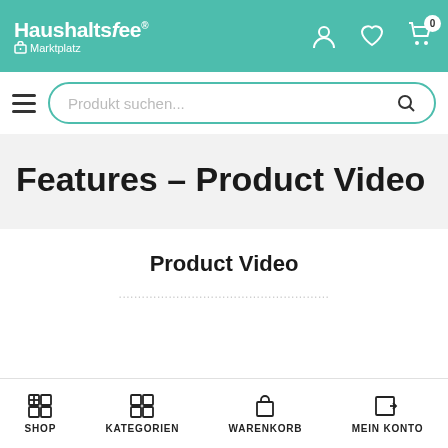Haushaltsfee® Marktplatz
Features – Product Video
Product Video
...
SHOP  KATEGORIEN  WARENKORB  MEIN KONTO